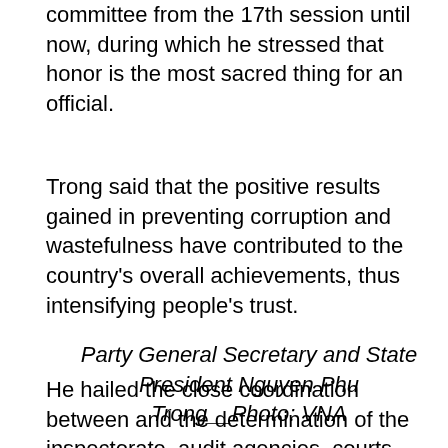a number of cases under the direction of the committee from the 17th session until now, during which he stressed that honor is the most sacred thing for an official.
Trong said that the positive results gained in preventing corruption and wastefulness have contributed to the country's overall achievements, thus intensifying people's trust.
Party General Secretary and State President Nguyen Phu Trong__Photo: VNA
He hailed the close coordination between and the determination of the inspectorate, audit agencies, courts, public security agencies, and armed forces, as well as the high level of consensus from the public.